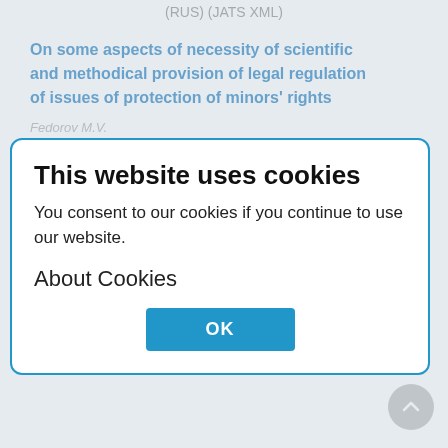(RUS) (JATS XML)
On some aspects of necessity of scientific and methodical provision of legal regulation of issues of protection of minors' rights
Fedorov M.V.
scientific approaches within
Show
aw, 2014,(4):379-389
379-389   228
[Figure (other): PDF download icon with label (RUS)]
[Figure (other): XML download icon with label (JATS XML)]
This website uses cookies
You consent to our cookies if you continue to use our website.
About Cookies
OK